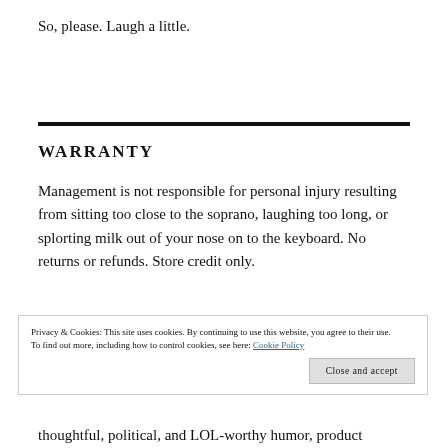So, please. Laugh a little.
WARRANTY
Management is not responsible for personal injury resulting from sitting too close to the soprano, laughing too long, or splorting milk out of your nose on to the keyboard. No returns or refunds. Store credit only.
Privacy & Cookies: This site uses cookies. By continuing to use this website, you agree to their use.
To find out more, including how to control cookies, see here: Cookie Policy
Close and accept
thoughtful, political, and LOL-worthy humor, product